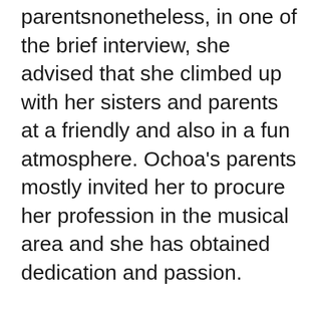parentsnonetheless, in one of the brief interview, she advised that she climbed up with her sisters and parents at a friendly and also in a fun atmosphere. Ochoa's parents mostly invited her to procure her profession in the musical area and she has obtained dedication and passion.